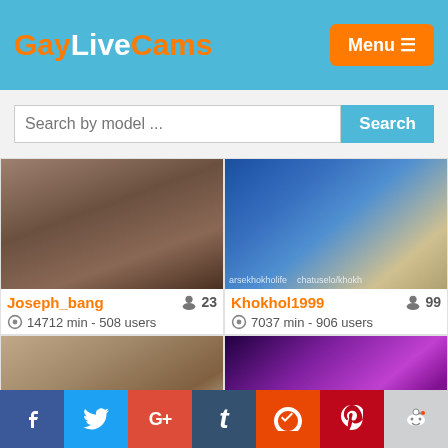GayLiveCams — Menu
Search by model ...
[Figure (screenshot): Webcam thumbnail for Joseph_bang]
Joseph_bang  23
14712 min - 508 users
[Figure (screenshot): Webcam thumbnail for Khokhol1999 with username overlay]
Khokhol1999  99
7037 min - 906 users
[Figure (screenshot): Webcam thumbnail of bearded man]
[Figure (screenshot): Webcam thumbnail with purple/pink neon lights]
f  Twitter  G+  t  StumbleUpon  Pinterest  Reddit